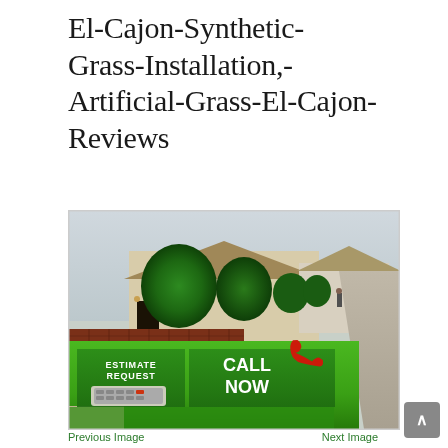El-Cajon-Synthetic-Grass-Installation,-Artificial-Grass-El-Cajon-Reviews
[Figure (photo): A house with artificial green grass lawn in the front yard, with an overlay showing 'ESTIMATE REQUEST' and 'CALL NOW' buttons with a red phone icon and a calculator graphic at the bottom.]
Previous Image    Next Image